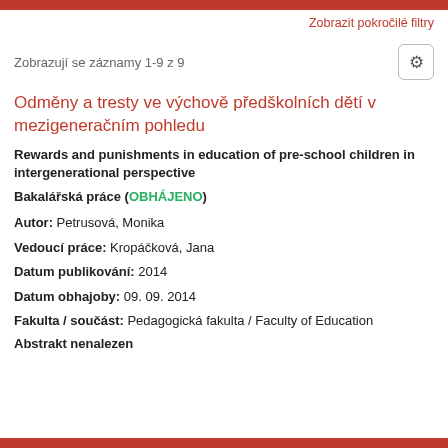Zobrazit pokročilé filtry
Zobrazují se záznamy 1-9 z 9
Odměny a tresty ve výchově předškolních dětí v mezigeneračním pohledu
Rewards and punishments in education of pre-school children in intergenerational perspective
Bakalářská práce (OBHÁJENO)
Autor: Petrusová, Monika
Vedoucí práce: Kropáčková, Jana
Datum publikování: 2014
Datum obhajoby: 09. 09. 2014
Fakulta / součást: Pedagogická fakulta / Faculty of Education
Abstrakt nenalezen